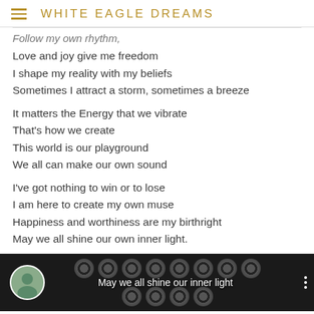WHITE EAGLE DREAMS
Follow my own rhythm,
Love and joy give me freedom
I shape my reality with my beliefs
Sometimes I attract a storm, sometimes a breeze
It matters the Energy that we vibrate
That's how we create
This world is our playground
We all can make our own sound
I've got nothing to win or to lose
I am here to create my own muse
Happiness and worthiness are my birthright
May we all shine our own inner light.
[Figure (screenshot): Video thumbnail showing vinyl records on a wall with a circular avatar photo on the left and white text overlay reading 'May we all shine our inner light', with three vertical dots menu on the right.]